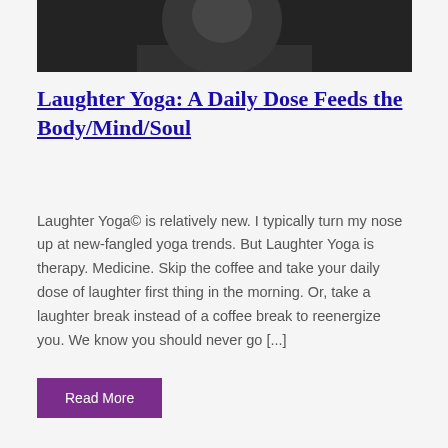[Figure (photo): Black and white photo of a person, partially visible, cropped at top of page]
Laughter Yoga: A Daily Dose Feeds the Body/Mind/Soul
Laughter Yoga© is relatively new. I typically turn my nose up at new-fangled yoga trends. But Laughter Yoga is therapy. Medicine. Skip the coffee and take your daily dose of laughter first thing in the morning. Or, take a laughter break instead of a coffee break to reenergize you. We know you should never go [...]
Read More